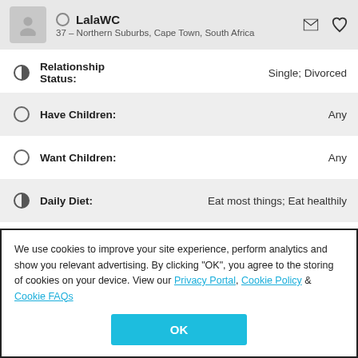LalaWC — 37 – Northern Suburbs, Cape Town, South Africa
Relationship Status: Single; Divorced
Have Children: Any
Want Children: Any
Daily Diet: Eat most things; Eat healthily
We use cookies to improve your site experience, perform analytics and show you relevant advertising. By clicking "OK", you agree to the storing of cookies on your device. View our Privacy Portal, Cookie Policy & Cookie FAQs